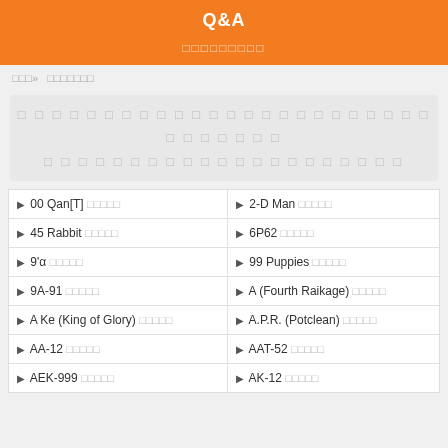Q&A
□□□□□□□□□
□□□ » □□□□□□□
□ □ □ □ □ □ □ □ □ □ □ □ □ □ □ □ □ □ □ □ □ □ □ □ □ □ □ □ □ □ □ □ □ □ □ □ □ □ □ □ □ □
| ▶ 00 Qan[T] □□□□□ | ▶ 2-D Man □□□□□ |
| ▶ 45 Rabbit □□□□□ | ▶ 6P62 □□□□□ |
| ▶ 9'α □□□□□ | ▶ 99 Puppies □□□□□ |
| ▶ 9A-91 □□□□□ | ▶ A (Fourth Raikage) □□□□□ |
| ▶ A Ke (King of Glory) □□□□□ | ▶ A.P.R. (Potclean) □□□□□ |
| ▶ AA-12 □□□□□ | ▶ AAT-52 □□□□□ |
| ▶ AEK-999 □□□□□ | ▶ AK-12 □□□□□ |